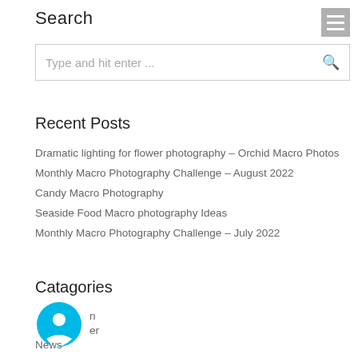Search
[Figure (other): Search input box with placeholder 'Type and hit enter ...' and a search icon on the right]
Recent Posts
Dramatic lighting for flower photography – Orchid Macro Photos
Monthly Macro Photography Challenge – August 2022
Candy Macro Photography
Seaside Food Macro photography Ideas
Monthly Macro Photography Challenge – July 2022
Catagories
n
er
News